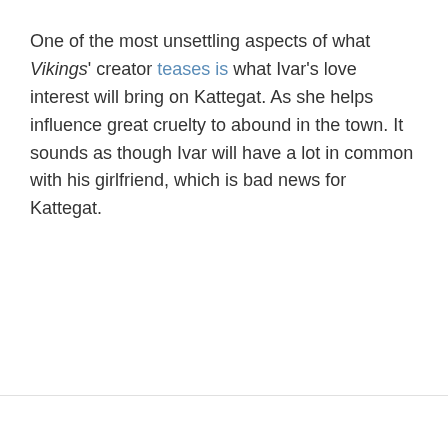One of the most unsettling aspects of what Vikings' creator teases is what Ivar's love interest will bring on Kattegat. As she helps influence great cruelty to abound in the town. It sounds as though Ivar will have a lot in common with his girlfriend, which is bad news for Kattegat.